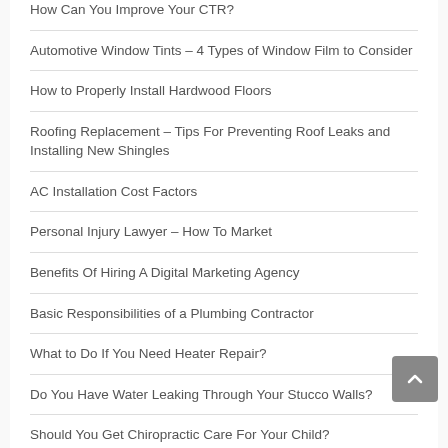How Can You Improve Your CTR?
Automotive Window Tints – 4 Types of Window Film to Consider
How to Properly Install Hardwood Floors
Roofing Replacement – Tips For Preventing Roof Leaks and Installing New Shingles
AC Installation Cost Factors
Personal Injury Lawyer – How To Market
Benefits Of Hiring A Digital Marketing Agency
Basic Responsibilities of a Plumbing Contractor
What to Do If You Need Heater Repair?
Do You Have Water Leaking Through Your Stucco Walls?
Should You Get Chiropractic Care For Your Child?